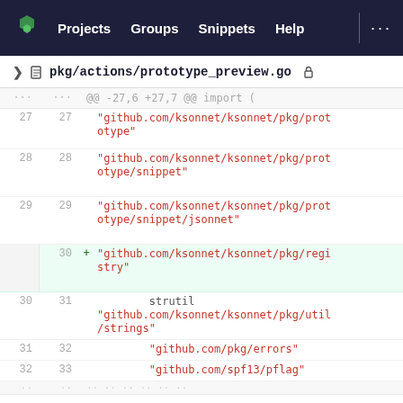Projects  Groups  Snippets  Help  ...
pkg/actions/prototype_preview.go
[Figure (screenshot): Code diff view showing additions to pkg/actions/prototype_preview.go. Lines 27-32 shown. A new import for github.com/ksonnet/ksonnet/pkg/registry is added at line 30. Other imports: github.com/ksonnet/ksonnet/pkg/prototype, github.com/ksonnet/ksonnet/pkg/prototype/snippet, github.com/ksonnet/ksonnet/pkg/prototype/snippet/jsonnet, strutil github.com/ksonnet/ksonnet/pkg/util/strings, github.com/pkg/errors, github.com/spf13/pflag.]